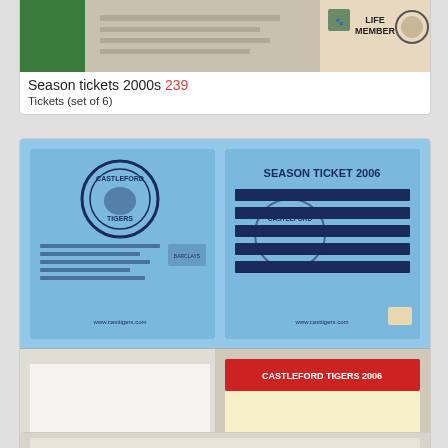[Figure (photo): Partial view of season tickets from the 2000s including a green ticket and a life member card]
Season tickets 2000s 239
Tickets (set of 6)
[Figure (photo): Castleford Tigers Season Ticket 2006 blue booklet showing front and back, plus adult standing ticket]
Season tickets 2000s 793
Tickets (set of 4)
[Figure (photo): Partial view of another season ticket item at the bottom of the page]